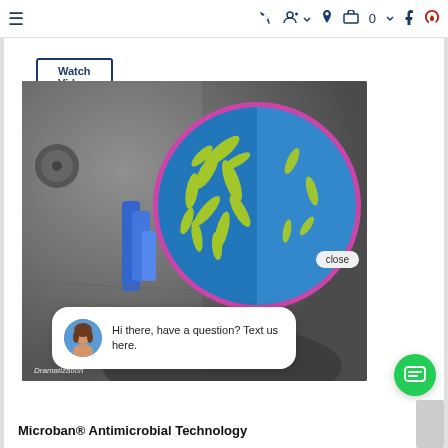≡  [phone icon]  [account icon]  [location icon]  [cart icon] 0  [facebook icon]  [yelp icon]
Watch Video
[Figure (screenshot): Washing machine top-load view with a circular dramatization inset showing bacteria (yellow rod-shaped organisms) on a blue background, split view showing before/after with purple/pink ring border. Text overlay: 'Dramatization'. Chat popup overlay with close button and message 'Hi there, have a question? Text us here.' with female avatar. Green chat button at bottom right.]
Dramatization
Microban® Antimicrobial Technology